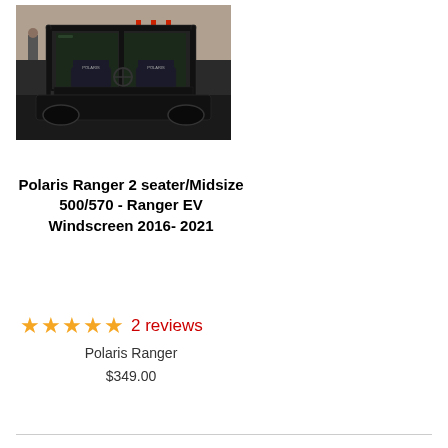[Figure (photo): Photo of a Polaris Ranger 2-seater UTV with a black windscreen/windshield frame, viewed from rear, inside a warehouse or garage]
Polaris Ranger 2 seater/Midsize 500/570 - Ranger EV Windscreen 2016- 2021
★★★★★ 2 reviews
Polaris Ranger
$349.00